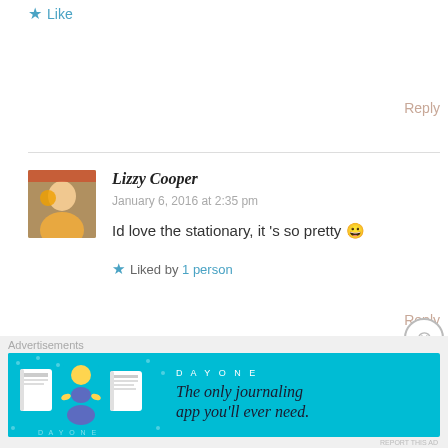★ Like
Reply
Lizzy Cooper
January 6, 2016 at 2:35 pm
Id love the stationary, it 's so pretty 😀
Liked by 1 person
Reply
Joanna Malefaki
January 10, 2016 at 11:22 am
Advertisements
[Figure (illustration): DAY ONE app advertisement banner — light blue background with illustrated icons of a journal, person, and notebook, with text 'The only journaling app you'll ever need.']